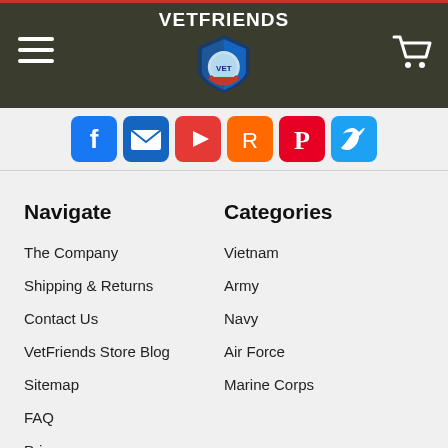VETFRIENDS
[Figure (screenshot): Social media icon buttons: Facebook, Email, YouTube, Reddit, Pinterest, Twitter]
Navigate
The Company
Shipping & Returns
Contact Us
VetFriends Store Blog
Sitemap
FAQ
Privacy
Categories
Vietnam
Army
Navy
Air Force
Marine Corps